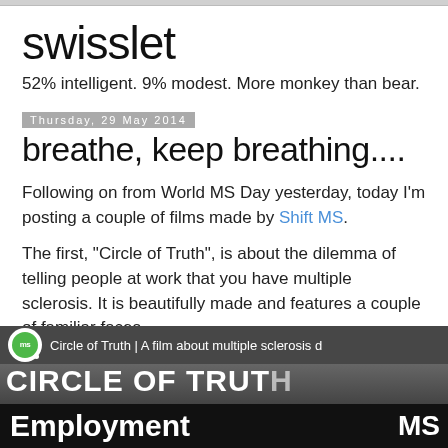swisslet
52% intelligent. 9% modest. More monkey than bear.
Thursday, 29 May 2014
breathe, keep breathing....
Following on from World MS Day yesterday, today I'm posting a couple of films made by Shift MS.
The first, "Circle of Truth",  is about the dilemma of telling people at work that you have multiple sclerosis.  It is beautifully made and features a couple of familiar faces.
[Figure (screenshot): Video thumbnail for 'Circle of Truth | A film about multiple sclerosis' with MS logo, title text 'CIRCLE OF TRUT' and 'Employment' text overlay at the bottom]